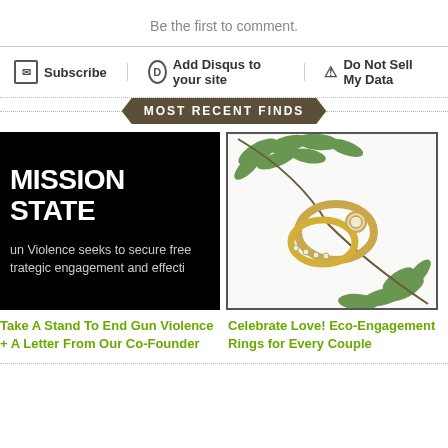Be the first to comment.
Subscribe
Add Disqus to your site
Do Not Sell My Data
MOST RECENT FINDS
[Figure (photo): Black background with white bold text reading 'MISSION STATE' and subtitle text about gun violence]
Take A Stand To End Gun Violence + A Letter From Our Co-Founder
[Figure (photo): Gold engagement rings with green leaves on white background]
Celebrate Love! Eco-Engagement Rings for Every Couple